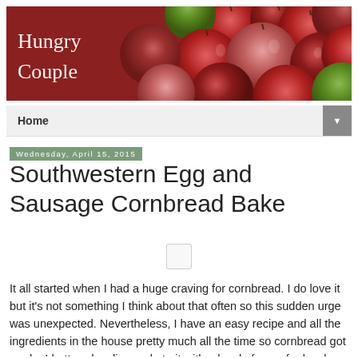[Figure (photo): Blog header banner with red apples filling the frame, with 'Hungry Couple' text overlaid in white serif font on the left side]
Home ▼
Wednesday, April 15, 2015
Southwestern Egg and Sausage Cornbread Bake
[Figure (photo): Small image placeholder thumbnail]
It all started when I had a huge craving for cornbread. I do love it but it's not something I think about that often so this sudden urge was unexpected. Nevertheless, I have an easy recipe and all the ingredients in the house pretty much all the time so cornbread got made. I buttered a slice and ate it with a bowl of soup for lunch. So good. But then I wanted more for dinner.